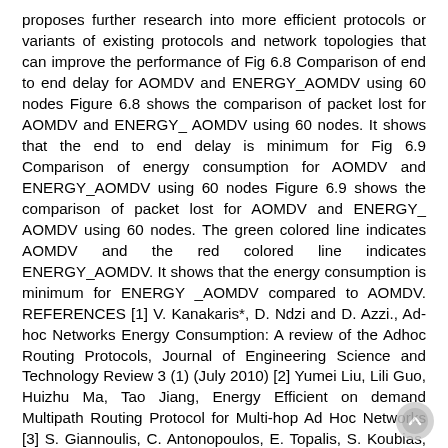proposes further research into more efficient protocols or variants of existing protocols and network topologies that can improve the performance of Fig 6.8 Comparison of end to end delay for AOMDV and ENERGY_AOMDV using 60 nodes Figure 6.8 shows the comparison of packet lost for AOMDV and ENERGY_ AOMDV using 60 nodes. It shows that the end to end delay is minimum for Fig 6.9 Comparison of energy consumption for AOMDV and ENERGY_AOMDV using 60 nodes Figure 6.9 shows the comparison of packet lost for AOMDV and ENERGY_ AOMDV using 60 nodes. The green colored line indicates AOMDV and the red colored line indicates ENERGY_AOMDV. It shows that the energy consumption is minimum for ENERGY _AOMDV compared to AOMDV. REFERENCES [1] V. Kanakaris*, D. Ndzi and D. Azzi., Ad-hoc Networks Energy Consumption: A review of the Adhoc Routing Protocols, Journal of Engineering Science and Technology Review 3 (1) (July 2010) [2] Yumei Liu, Lili Guo, Huizhu Ma, Tao Jiang, Energy Efficient on demand Multipath Routing Protocol for Multi-hop Ad Hoc Networks [3] S. Giannoulis, C. Antonopoulos, E. Topalis, S. Koubias, ZRP versus DSR and TORA: A comprehensive survey on ZRP performance, IEEE Transactions on Industrial